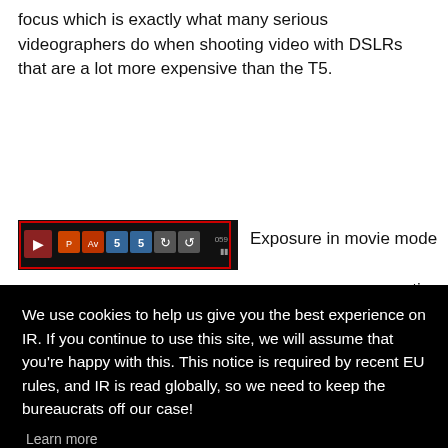focus which is exactly what many serious videographers do when shooting video with DSLRs that are a lot more expensive than the T5.
[Figure (screenshot): Camera LCD screen showing movie mode icons/controls on a black background]
Exposure in movie mode
[Figure (screenshot): Cookie consent overlay popup with text: We use cookies to help us give you the best experience on IR. If you continue to use this site, we will assume that you're happy with this. This notice is required by recent EU rules, and IR is read globally, so we need to keep the bureaucrats off our case! Learn more. Got it! button.]
because video image quality is generally excellent. And in